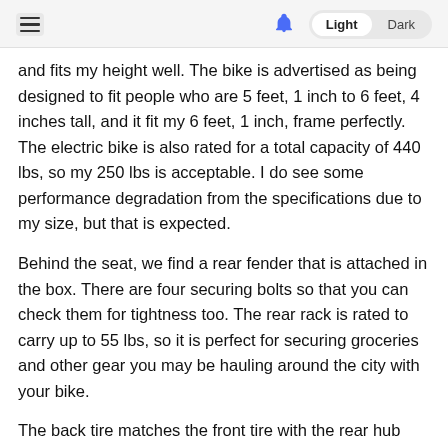≡  🔔  Light  Dark
and fits my height well. The bike is advertised as being designed to fit people who are 5 feet, 1 inch to 6 feet, 4 inches tall, and it fit my 6 feet, 1 inch, frame perfectly. The electric bike is also rated for a total capacity of 440 lbs, so my 250 lbs is acceptable. I do see some performance degradation from the specifications due to my size, but that is expected.
Behind the seat, we find a rear fender that is attached in the box. There are four securing bolts so that you can check them for tightness too. The rear rack is rated to carry up to 55 lbs, so it is perfect for securing groceries and other gear you may be hauling around the city with your bike.
The back tire matches the front tire with the rear hub motor positioned at the center of the wheel. A fender is also attached out of the box with a rear red taillight that is also connected to the battery. This light works well to make you visible on the road and also serves as a brake light.